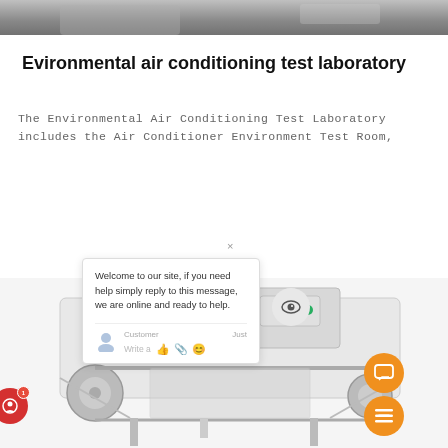[Figure (photo): Top portion of a laboratory environment photo showing equipment]
Evironmental air conditioning test laboratory
The Environmental Air Conditioning Test Laboratory includes the Air Conditioner Environment Test Room,
[Figure (screenshot): Live chat popup widget with welcome message: 'Welcome to our site, if you need help simply reply to this message, we are online and ready to help.' Customer input area with emoji and attachment icons. Eye visibility circle icon. Red chat badge with notification count 1. Two orange circular buttons for chat and menu.]
[Figure (photo): Industrial packaging or testing machine, white colored, with control panel, rollers and belts visible]